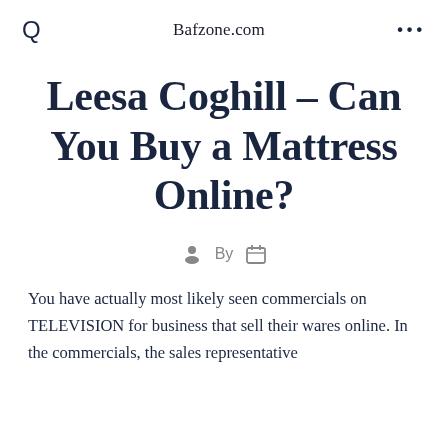Bafzone.com
Leesa Coghill – Can You Buy a Mattress Online?
By
You have actually most likely seen commercials on TELEVISION for business that sell their wares online. In the commercials, the sales representative